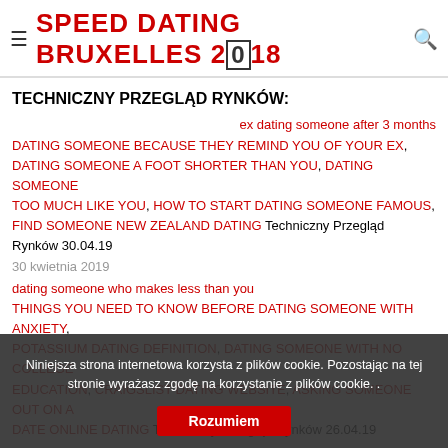SPEED DATING BRUXELLES 2018
TECHNICZNY PRZEGLĄD RYNKÓW:
ex dating someone after 3 months
DATING SOMEONE BECAUSE THEY REMIND YOU OF YOUR EX, DATING SOMEONE A FOOT SHORTER THAN YOU, DATING SOMEONE TOO MUCH LIKE YOU, HOW TO START DATING SOMEONE FAMOUS, FIND SOMEONE NEW ZEALAND DATING Techniczny Przegląd Rynków 30.04.19
30 kwietnia 2019
dating someone who makes less than you
THINGS YOU NEED TO KNOW BEFORE DATING SOMEONE WITH ANXIETY, POTASSIUM DATING DEFINITION, DATING SOMEONE WITH NO COLLEGE EDUCATION, CRAIGSLIST DATING WEBSITE, ASKING SOMEONE OUT ON A DATE ONLINE DATING Techniczny Przegląd Rynków 26.04.19
Niniejsza strona internetowa korzysta z plików cookie. Pozostając na tej stronie wyrażasz zgodę na korzystanie z plików cookie. .
Rozumiem